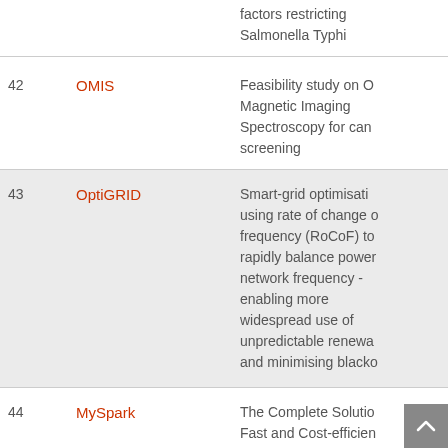| # | Project Name | Description |
| --- | --- | --- |
| 41 | HILLEVI… | …identification of host factors restricting Salmonella Typhi |
| 42 | OMIS | Feasibility study on Optical Magnetic Imaging Spectroscopy for cancer screening |
| 43 | OptiGRID | Smart-grid optimisation using rate of change of frequency (RoCoF) to rapidly balance power network frequency - enabling more widespread use of unpredictable renewa… and minimising blacko… |
| 44 | MySpark | The Complete Solutio… Fast and Cost-efficien… Yeast Separation Pro… |